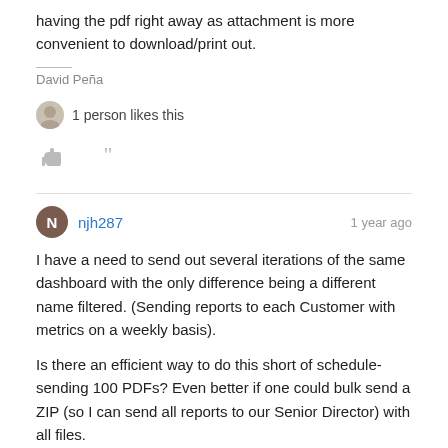having the pdf right away as attachment is more convenient to download/print out.
David Peña
1 person likes this
njh287 · 1 year ago
I have a need to send out several iterations of the same dashboard with the only difference being a different name filtered. (Sending reports to each Customer with metrics on a weekly basis).
Is there an efficient way to do this short of schedule-sending 100 PDFs? Even better if one could bulk send a ZIP (so I can send all reports to our Senior Director) with all files.